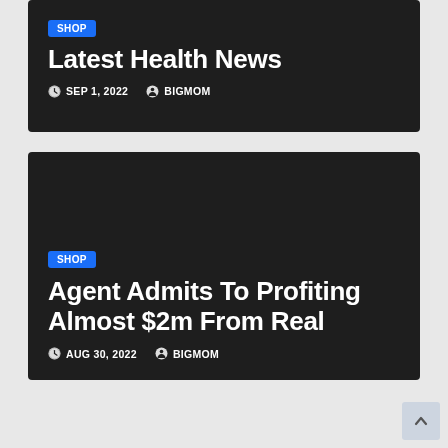[Figure (screenshot): Dark card with SHOP badge, title 'Latest Health News', date SEP 1, 2022, author BIGMOM]
[Figure (screenshot): Dark card with SHOP badge, title 'Agent Admits To Profiting Almost $2m From Real', date AUG 30, 2022, author BIGMOM]